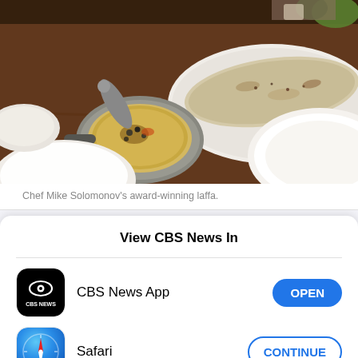[Figure (photo): Food photo showing Chef Mike Solomonov's award-winning laffa bread and hummus dish on a wooden table with plates]
Chef Mike Solomonov's award-winning laffa.
View CBS News In
[Figure (logo): CBS News app icon - black background with CBS eye logo and CBS NEWS text]
CBS News App
[Figure (logo): Safari browser icon - compass with blue/red needle on blue gradient background]
Safari